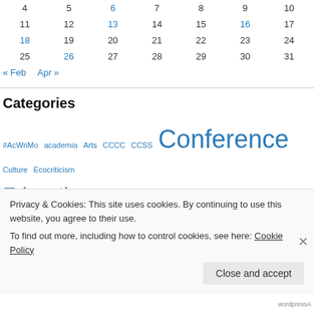| Sun | Mon | Tue | Wed | Thu | Fri | Sat |
| --- | --- | --- | --- | --- | --- | --- |
| 4 | 5 | 6 | 7 | 8 | 9 | 10 |
| 11 | 12 | 13 | 14 | 15 | 16 | 17 |
| 18 | 19 | 20 | 21 | 22 | 23 | 24 |
| 25 | 26 | 27 | 28 | 29 | 30 | 31 |
« Feb   Apr »
Categories
#AcWriMo academia Arts CCCC CCSS Conference Culture Ecocriticism Education Genre Humanities K-12 Linguistics Manuscript MMLA News Poetry Presentation Publication Reading Rhet Comp SFL SSML
Privacy & Cookies: This site uses cookies. By continuing to use this website, you agree to their use.
To find out more, including how to control cookies, see here: Cookie Policy
Close and accept